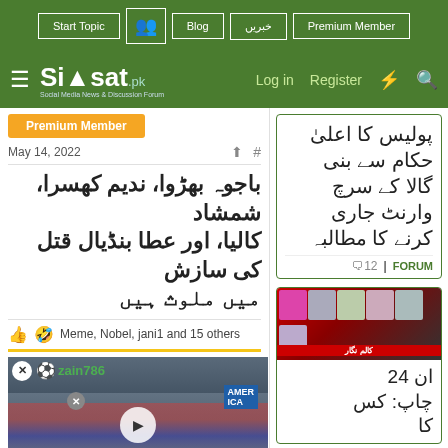Siasat.pk — Start Topic | Blog | خبریں | Premium Member | Log in | Register
Premium Member
May 14, 2022
باجوہ بھڑوا، ندیم کھسرا، شمشاد کالیا، اور عطا بنڈیال قتل کی سازش میں ملوث ہیں
Meme, Nobel, jani1 and 15 others
[Figure (screenshot): Video thumbnail showing a political rally with a crowd holding signs (AMERICA, BETTER AMERICA), user zain786, play button overlay]
09:00 – 13:30
Hunt Plaza, Ashburn
پولیس کا اعلی حکام سے بنی گالا کے سرچ وارنٹ جاری کرنے کا مطالبہ
🗨12 | FORUM
[Figure (screenshot): News article image showing a crowd of people with a red banner, Pakistani news article thumbnail]
ان 24 چاپ: کس کا